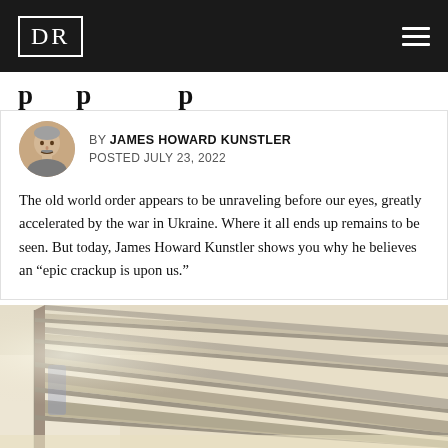DR
[partial title, truncated at top]
BY JAMES HOWARD KUNSTLER
POSTED JULY 23, 2022
The old world order appears to be unraveling before our eyes, greatly accelerated by the war in Ukraine. Where it all ends up remains to be seen. But today, James Howard Kunstler shows you why he believes an “epic crackup is upon us.”
[Figure (photo): Empty supermarket shelves photographed from a low angle, showing multiple bare metal shelving units receding into the background of a store aisle.]